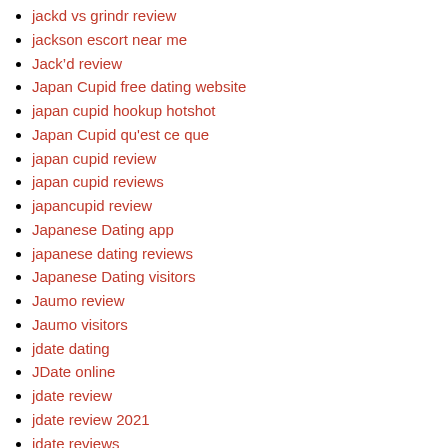jackd vs grindr review
jackson escort near me
Jack'd review
Japan Cupid free dating website
japan cupid hookup hotshot
Japan Cupid qu'est ce que
japan cupid review
japan cupid reviews
japancupid review
Japanese Dating app
japanese dating reviews
Japanese Dating visitors
Jaumo review
Jaumo visitors
jdate dating
JDate online
jdate review
jdate review 2021
jdate reviews
jdate reviews mobile site
jdate visitors
jdate vs jswipe full guide
je veux des critiques de sites
jednolite-randki profil
jeevansathi avis